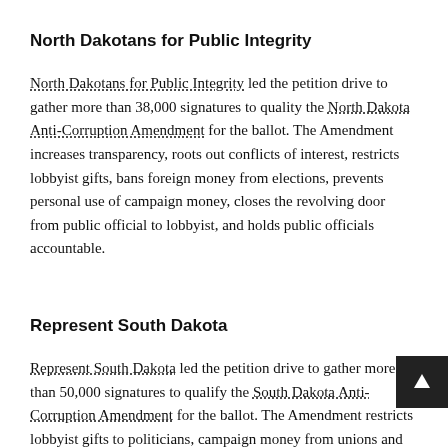North Dakotans for Public Integrity
North Dakotans for Public Integrity led the petition drive to gather more than 38,000 signatures to quality the North Dakota Anti-Corruption Amendment for the ballot. The Amendment increases transparency, roots out conflicts of interest, restricts lobbyist gifts, bans foreign money from elections, prevents personal use of campaign money, closes the revolving door from public official to lobbyist, and holds public officials accountable.
Represent South Dakota
Represent South Dakota led the petition drive to gather more than 50,000 signatures to qualify the South Dakota Anti-Corruption Amendment for the ballot. The Amendment restricts lobbyist gifts to politicians, campaign money from unions and corporations to candidates and political parties, bans foreign money, stops politicians from using public office for